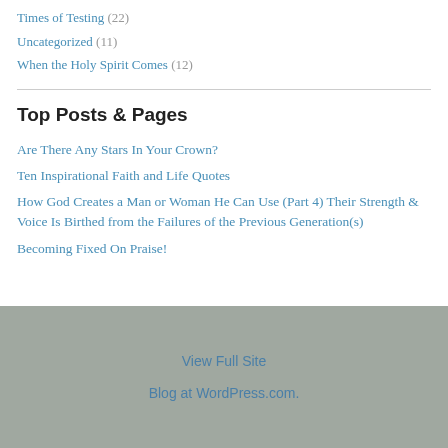Times of Testing (22)
Uncategorized (11)
When the Holy Spirit Comes (12)
Top Posts & Pages
Are There Any Stars In Your Crown?
Ten Inspirational Faith and Life Quotes
How God Creates a Man or Woman He Can Use (Part 4) Their Strength & Voice Is Birthed from the Failures of the Previous Generation(s)
Becoming Fixed On Praise!
View Full Site
Blog at WordPress.com.